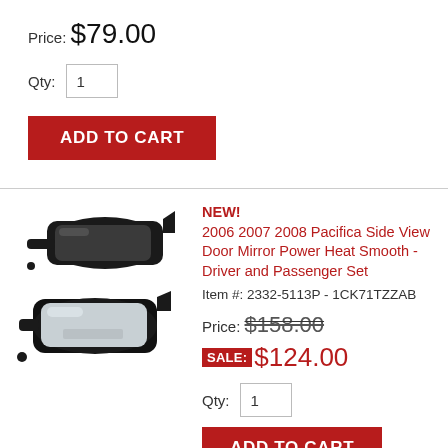Price: $79.00
Qty: 1
ADD TO CART
[Figure (photo): Two black side view door mirrors (driver and passenger) shown stacked]
NEW!
2006 2007 2008 Pacifica Side View Door Mirror Power Heat Smooth -Driver and Passenger Set
Item #: 2332-5113P - 1CK71TZZAB
Price: $158.00
SALE: $124.00
Qty: 1
ADD TO CART